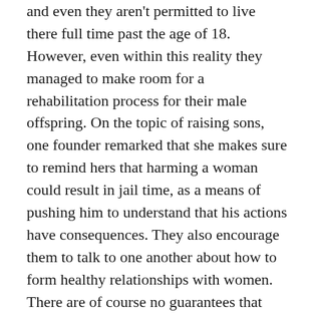and even they aren't permitted to live there full time past the age of 18. However, even within this reality they managed to make room for a rehabilitation process for their male offspring. On the topic of raising sons, one founder remarked that she makes sure to remind hers that harming a woman could result in jail time, as a means of pushing him to understand that his actions have consequences. They also encourage them to talk to one another about how to form healthy relationships with women. There are of course no guarantees that every child can be sheltered completely from misogynoirist propaganda, but the founders were certain of the fact that for now, the boys can practice the act of